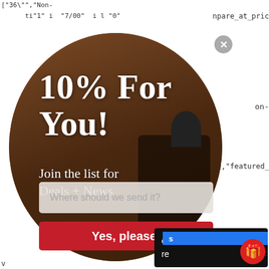["36\"","Non-
ti"1" i "7/00" i l "0" npare_at_pric
[Figure (screenshot): Email signup modal popup with circular image background showing a KAPRO tool and orange diagonal beam. Contains bold white text '10% For You!', subtext 'Join the list for Deals + News', an email input field with placeholder 'Where should we send it?', and a red button 'Yes, please!'. A close (X) button appears in the top right of the modal.]
on-
:rue,"featured_
et the
re
pric
s
v